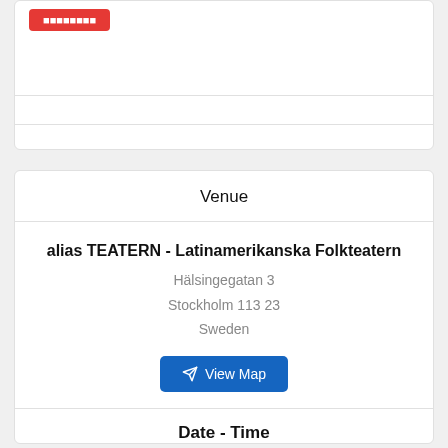[Figure (screenshot): Top card partial view with a red button visible at the top left and two horizontal divider lines]
Venue
alias TEATERN - Latinamerikanska Folkteatern
Hälsingegatan 3
Stockholm 113 23
Sweden
View Map
Date - Time
13 dec 2021